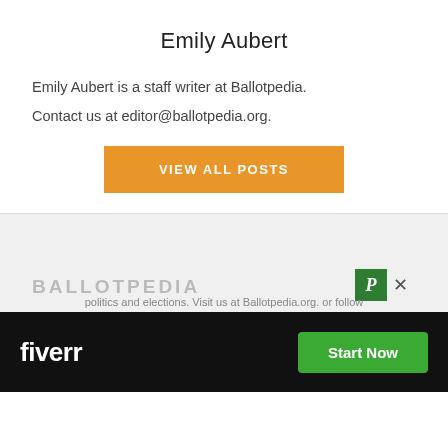Emily Aubert
Emily Aubert is a staff writer at Ballotpedia.
Contact us at editor@ballotpedia.org.
[Figure (other): Orange button labeled VIEW ALL POSTS]
[Figure (other): Ballotpedia logo watermark in grey, with green P icon and X close button. Advertisement banner for Fiverr with Start Now green button. Footer text: politics and elections. Visit us at Ballotpedia.org. or follow]